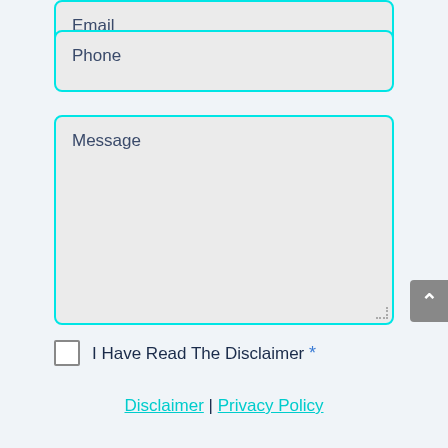Email
Phone
Message
I Have Read The Disclaimer *
Disclaimer | Privacy Policy